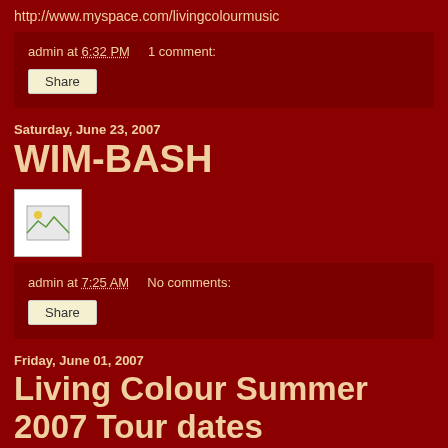http://www.myspace.com/livingcolourmusic
admin at 6:32 PM    1 comment:
Share
Saturday, June 23, 2007
WIM-BASH
[Figure (photo): Small broken/placeholder image icon]
admin at 7:25 AM    No comments:
Share
Friday, June 01, 2007
Living Colour Summer 2007 Tour dates
Living Colour's Summer European Tour dates for July 2007